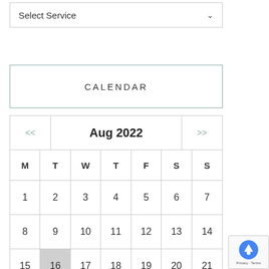[Figure (screenshot): Select Service dropdown input box with a chevron/arrow on the right]
CALENDAR
[Figure (screenshot): Calendar widget showing August 2022 with navigation arrows. Days M T W T F S S. Dates 1-28 visible with day 16 highlighted in grey.]